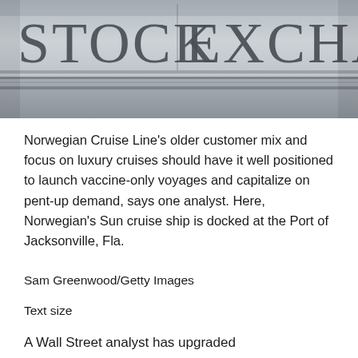[Figure (photo): Photograph of a stone building facade with engraved text reading 'STOCK EXCHANGE', partially visible, in a grayscale/monochrome tone.]
Norwegian Cruise Line's older customer mix and focus on luxury cruises should have it well positioned to launch vaccine-only voyages and capitalize on pent-up demand, says one analyst. Here, Norwegian's Sun cruise ship is docked at the Port of Jacksonville, Fla.
Sam Greenwood/Getty Images
Text size
A Wall Street analyst has upgraded